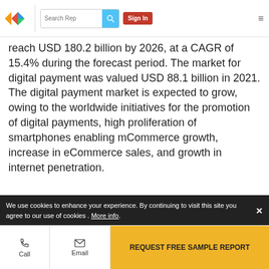Search Rep | Sign In
reach USD 180.2 billion by 2026, at a CAGR of 15.4% during the forecast period. The market for digital payment was valued USD 88.1 billion in 2021. The digital payment market is expected to grow, owing to the worldwide initiatives for the promotion of digital payments, high proliferation of smartphones enabling mCommerce growth, increase in eCommerce sales, and growth in internet penetration.
[Figure (infographic): Attractive Opportunities in the Digital Payment Market infographic showing 88.1 USD Billion in 2021 growing to 180.2 USD Billion in 2026 at a CAGR of 15.4%. Includes a world map graphic and progress bars from grey to gold.]
We use cookies to enhance your experience. By continuing to visit this site you agree to our use of cookies . More info.
REQUEST FREE SAMPLE REPORT